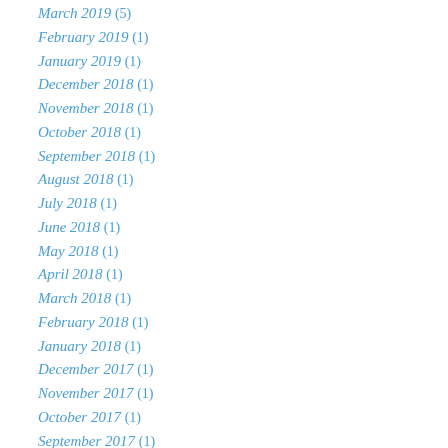March 2019 (5)
February 2019 (1)
January 2019 (1)
December 2018 (1)
November 2018 (1)
October 2018 (1)
September 2018 (1)
August 2018 (1)
July 2018 (1)
June 2018 (1)
May 2018 (1)
April 2018 (1)
March 2018 (1)
February 2018 (1)
January 2018 (1)
December 2017 (1)
November 2017 (1)
October 2017 (1)
September 2017 (1)
August 2017 (1)